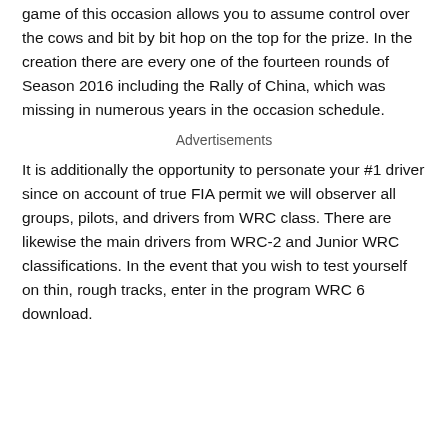game of this occasion allows you to assume control over the cows and bit by bit hop on the top for the prize. In the creation there are every one of the fourteen rounds of Season 2016 including the Rally of China, which was missing in numerous years in the occasion schedule.
Advertisements
It is additionally the opportunity to personate your #1 driver since on account of true FIA permit we will observer all groups, pilots, and drivers from WRC class. There are likewise the main drivers from WRC-2 and Junior WRC classifications. In the event that you wish to test yourself on thin, rough tracks, enter in the program WRC 6 download.